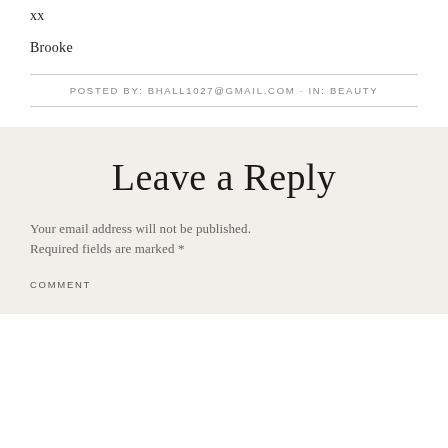xx
Brooke
POSTED BY: BHALL1027@GMAIL.COM · IN: BEAUTY
Leave a Reply
Your email address will not be published. Required fields are marked *
COMMENT